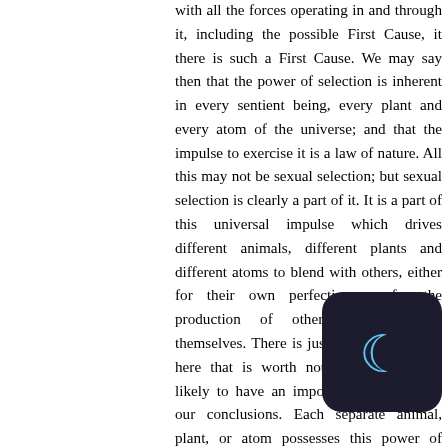with all the forces operating in and through it, including the possible First Cause, it there is such a First Cause. We may say then that the power of selection is inherent in every sentient being, every plant and every atom of the universe; and that the impulse to exercise it is a law of nature. All this may not be sexual selection; but sexual selection is clearly a part of it. It is a part of this universal impulse which drives different animals, different plants and different atoms to blend with others, either for their own perfection or for the production of others distinct from themselves. There is just one thought right here that is worth noting, because it is likely to have an important bearing upon our conclusions. Each separate animal, plant, or atom possesses this power of selection for